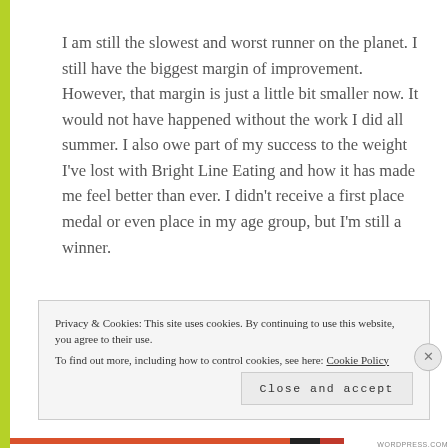I am still the slowest and worst runner on the planet. I still have the biggest margin of improvement. However, that margin is just a little bit smaller now. It would not have happened without the work I did all summer. I also owe part of my success to the weight I've lost with Bright Line Eating and how it has made me feel better than ever. I didn't receive a first place medal or even place in my age group, but I'm still a winner.
Privacy & Cookies: This site uses cookies. By continuing to use this website, you agree to their use.
To find out more, including how to control cookies, see here: Cookie Policy
Close and accept